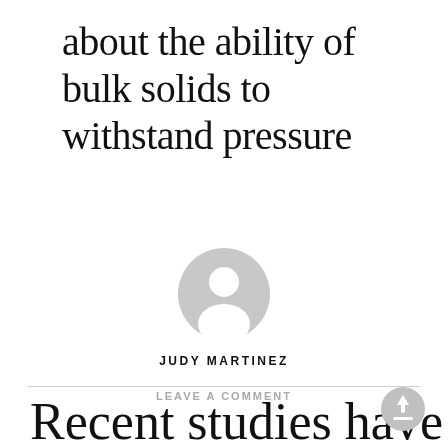about the ability of bulk solids to withstand pressure
[Figure (illustration): Generic user/author avatar icon — a grey circle with a white silhouette of a person (head and shoulders)]
JUDY MARTINEZ
LEAVE A COMMENT
Recent studies have